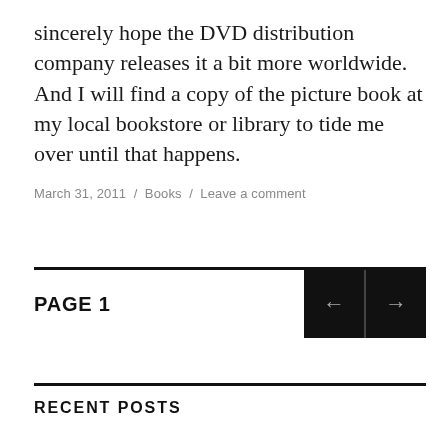sincerely hope the DVD distribution company releases it a bit more worldwide. And I will find a copy of the picture book at my local bookstore or library to tide me over until that happens.
March 31, 2011 / Books / Leave a comment
PAGE 1
RECENT POSTS